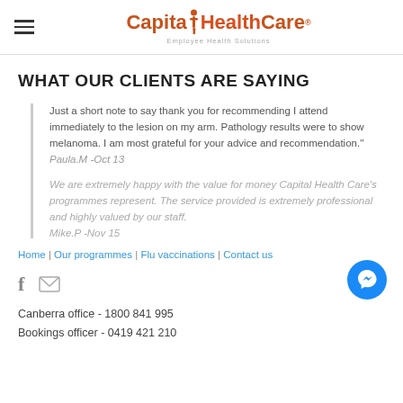Capital HealthCare — Employee Health Solutions
WHAT OUR CLIENTS ARE SAYING
Just a short note to say thank you for recommending I attend immediately to the lesion on my arm. Pathology results were to show melanoma. I am most grateful for your advice and recommendation." Paula.M -Oct 13
We are extremely happy with the value for money Capital Health Care's programmes represent. The service provided is extremely professional and highly valued by our staff. Mike.P -Nov 15
Home | Our programmes | Flu vaccinations | Contact us
Canberra office - 1800 841 995
Bookings officer - 0419 421 210